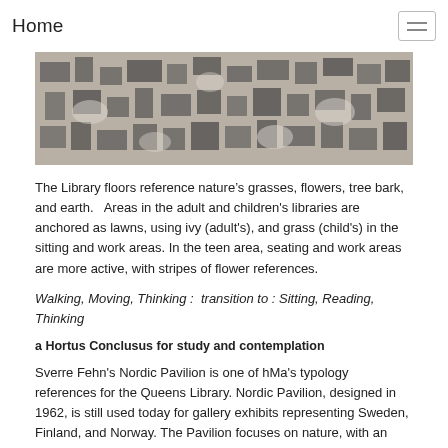Home
[Figure (photo): Aerial or overhead photograph showing a textured pattern of dark grid-like structures on a light background, resembling an architectural model or landscape viewed from above.]
The Library floors reference nature's grasses, flowers, tree bark, and earth.   Areas in the adult and children's libraries are anchored as lawns, using ivy (adult's), and grass (child's) in the sitting and work areas. In the teen area, seating and work areas are more active, with stripes of flower references.
Walking, Moving, Thinking :  transition to : Sitting, Reading, Thinking
a Hortus Conclusus for study and contemplation
Sverre Fehn's Nordic Pavilion is one of hMa's typology references for the Queens Library. Nordic Pavilion, designed in 1962, is still used today for gallery exhibits representing Sweden, Finland, and Norway. The Pavilion focuses on nature, with an open grid-roof of criss-crossing, thin, concrete beams, designed to simulate the effects of dappled sunlight